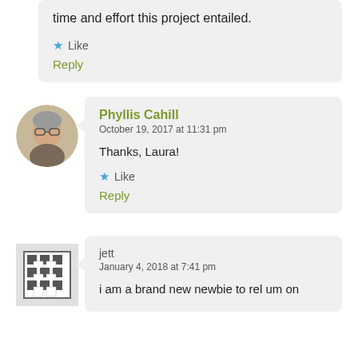time and effort this project entailed.
Like
Reply
Phyllis Cahill
October 19, 2017 at 11:31 pm
Thanks, Laura!
Like
Reply
jett
January 4, 2018 at 7:41 pm
i am a brand new newbie to rel um on